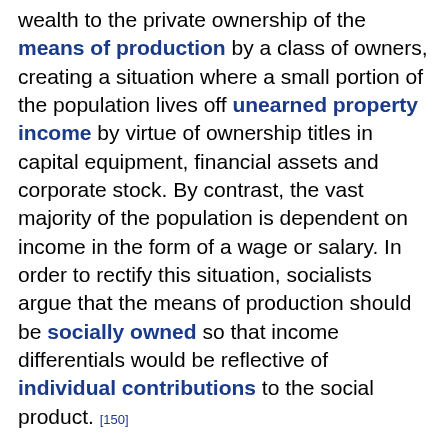wealth to the private ownership of the means of production by a class of owners, creating a situation where a small portion of the population lives off unearned property income by virtue of ownership titles in capital equipment, financial assets and corporate stock. By contrast, the vast majority of the population is dependent on income in the form of a wage or salary. In order to rectify this situation, socialists argue that the means of production should be socially owned so that income differentials would be reflective of individual contributions to the social product. [150]
Marxian economics attributes rising inequality to job automation and capital deepening within capitalism. The process of job automation conflicts with the capitalist property form and its attendant system of wage labor. In this analysis, capitalist firms